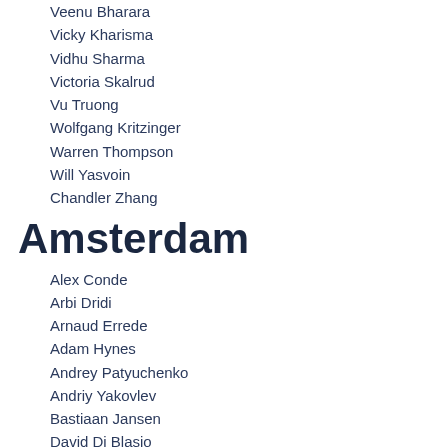Veenu Bharara
Vicky Kharisma
Vidhu Sharma
Victoria Skalrud
Vu Truong
Wolfgang Kritzinger
Warren Thompson
Will Yasvoin
Chandler Zhang
Amsterdam
Alex Conde
Arbi Dridi
Arnaud Errede
Adam Hynes
Andrey Patyuchenko
Andriy Yakovlev
Bastiaan Jansen
David Di Blasio
Dora Wierzbicka
Julien Rey
Kurt Eroglu
Michael Heemskerk